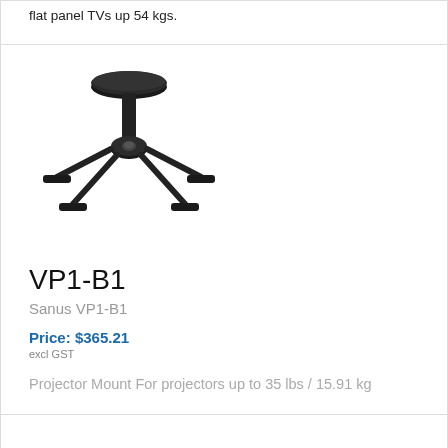flat panel TVs up 54 kgs.
[Figure (illustration): Projector ceiling mount bracket, black, with four arms extending outward and a round top plate.]
VP1-B1
Sanus VP1-B1
Price: $365.21
excl GST
Projector Mount For projectors up to 35 lbs / 15.91 kg